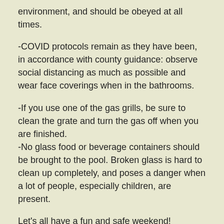environment, and should be obeyed at all times.
-COVID protocols remain as they have been, in accordance with county guidance: observe social distancing as much as possible and wear face coverings when in the bathrooms.
-If you use one of the gas grills, be sure to clean the grate and turn the gas off when you are finished.
-No glass food or beverage containers should be brought to the pool. Broken glass is hard to clean up completely, and poses a danger when a lot of people, especially children, are present.
Let's all have a fun and safe weekend!
Web